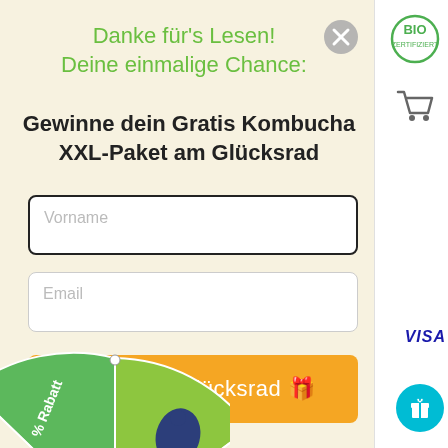Danke für's Lesen!
Deine einmalige Chance:
Gewinne dein Gratis Kombucha XXL-Paket am Glücksrad
Vorname
Email
Drehe am Glücksrad 🎁
[Figure (illustration): Partial spinning prize wheel at the bottom left, showing green slice with '% Rabatt' text and a dark blue teardrop/location pin shape]
[Figure (logo): BIO certification logo in top right sidebar]
[Figure (illustration): Shopping cart icon in right sidebar]
VISA
[Figure (illustration): Teal gift/present button circle in bottom right sidebar]